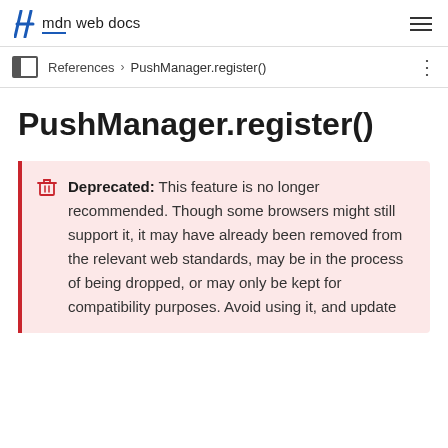mdn web docs
References > PushManager.register()
PushManager.register()
Deprecated: This feature is no longer recommended. Though some browsers might still support it, it may have already been removed from the relevant web standards, may be in the process of being dropped, or may only be kept for compatibility purposes. Avoid using it, and update